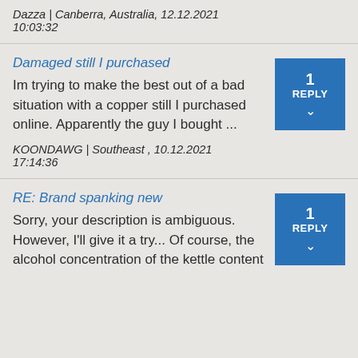Dazza | Canberra, Australia, 12.12.2021 10:03:32
Damaged still I purchased
Im trying to make the best out of a bad situation with a copper still I purchased online. Apparently the guy I bought ...
KOONDAWG | Southeast , 10.12.2021 17:14:36
RE: Brand spanking new
Sorry, your description is ambiguous. However, I'll give it a try... Of course, the alcohol concentration of the kettle content